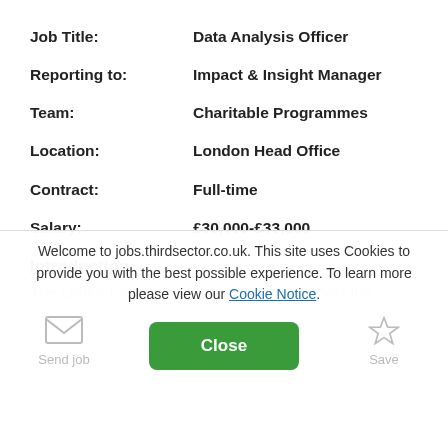| Job Title: | Data Analysis Officer |
| Reporting to: | Impact & Insight Manager |
| Team: | Charitable Programmes |
| Location: | London Head Office |
| Contract: | Full-time |
| Salary: | £30,000-£33,000 |
Introduction
The Lord's Taverners exist to positively impact the
Welcome to jobs.thirdsector.co.uk. This site uses Cookies to provide you with the best possible experience. To learn more please view our Cookie Notice.
Close